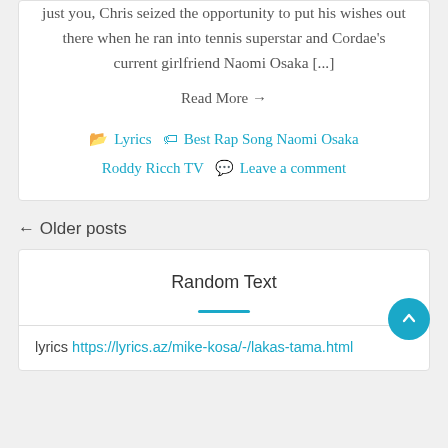just you, Chris seized the opportunity to put his wishes out there when he ran into tennis superstar and Cordae’s current girlfriend Naomi Osaka [...]
Read More →
📂 Lyrics 🏷 Best Rap Song Naomi Osaka Roddy Ricch TV 💬 Leave a comment
← Older posts
Random Text
lyrics https://lyrics.az/mike-kosa/-/lakas-tama.html